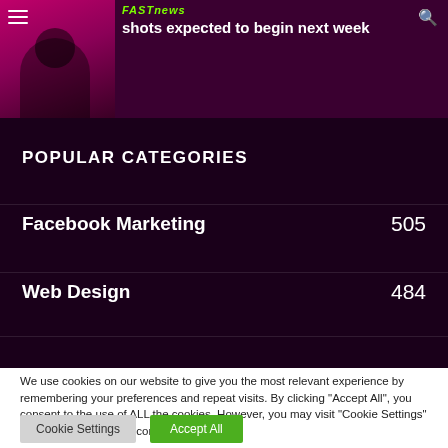[Figure (screenshot): Website banner with thumbnail image, Fast News logo, and headline about COVID boosters with shots expected to begin next week]
POPULAR CATEGORIES
Facebook Marketing 505
Web Design 484
We use cookies on our website to give you the most relevant experience by remembering your preferences and repeat visits. By clicking "Accept All", you consent to the use of ALL the cookies. However, you may visit "Cookie Settings" to provide a controlled consent.
Cookie Settings | Accept All